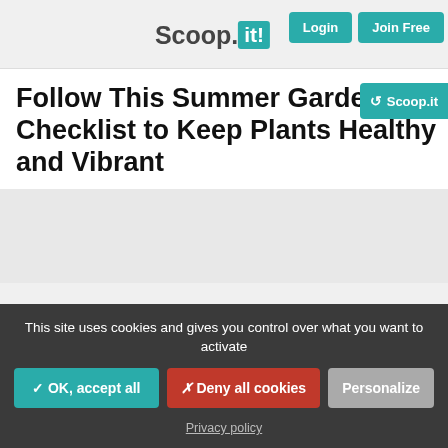Scoop.it!
Follow This Summer Garden Checklist to Keep Plants Healthy and Vibrant
This site uses cookies and gives you control over what you want to activate
✓ OK, accept all | ✗ Deny all cookies | Personalize
Privacy policy